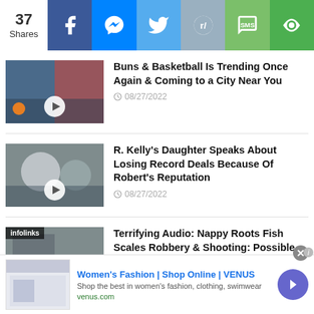[Figure (infographic): Social share bar with 37 Shares count and icons for Facebook, Messenger, Twitter, Reddit, SMS, and Eye/Share]
[Figure (photo): Thumbnail for Buns & Basketball article with video play button]
Buns & Basketball Is Trending Once Again & Coming to a City Near You
08/27/2022
[Figure (photo): Thumbnail for R. Kelly's Daughter article with video play button]
R. Kelly's Daughter Speaks About Losing Record Deals Because Of Robert's Reputation
08/27/2022
[Figure (photo): Thumbnail for Nappy Roots Fish Scales article with video play button and infolinks badge]
Terrifying Audio: Nappy Roots Fish Scales Robbery & Shooting: Possible Inside Job
[Figure (screenshot): VENUS Women's Fashion advertisement banner with shop thumbnail, title, description, venus.com URL, and navigation arrow]